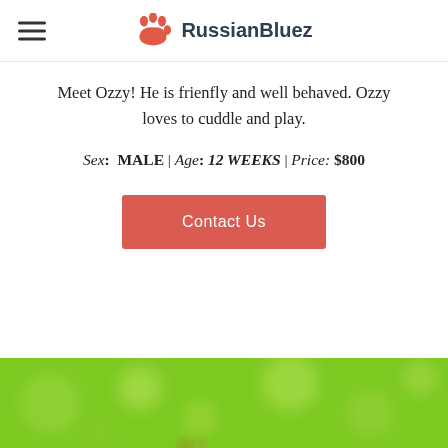RussianBluez
Meet Ozzy! He is frienfly and well behaved. Ozzy loves to cuddle and play.
Sex: MALE | Age: 12 WEEKS | Price: $800
Contact Us
[Figure (photo): Green blurred bokeh background photo, outdoor nature scene]